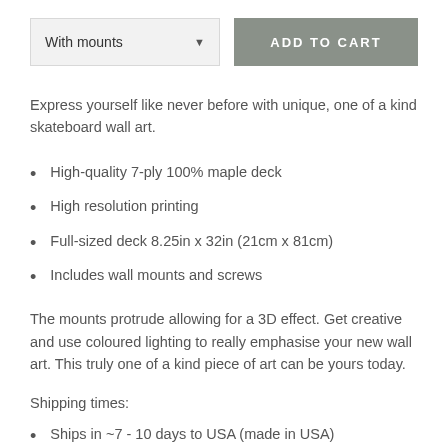[Figure (screenshot): E-commerce UI element: dropdown selector showing 'With mounts' with arrow, and a dark sage green 'ADD TO CART' button]
Express yourself like never before with unique, one of a kind skateboard wall art.
High-quality 7-ply 100% maple deck
High resolution printing
Full-sized deck 8.25in x 32in (21cm x 81cm)
Includes wall mounts and screws
The mounts protrude allowing for a 3D effect. Get creative and use coloured lighting to really emphasise your new wall art. This truly one of a kind piece of art can be yours today.
Shipping times:
Ships in ~7 - 10 days to USA (made in USA)